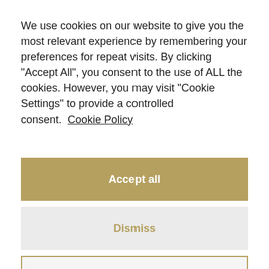We use cookies on our website to give you the most relevant experience by remembering your preferences for repeat visits. By clicking "Accept All", you consent to the use of ALL the cookies. However, you may visit "Cookie Settings" to provide a controlled consent. Cookie Policy
Accept all
Dismiss
Preferences
escalation as aforementioned.